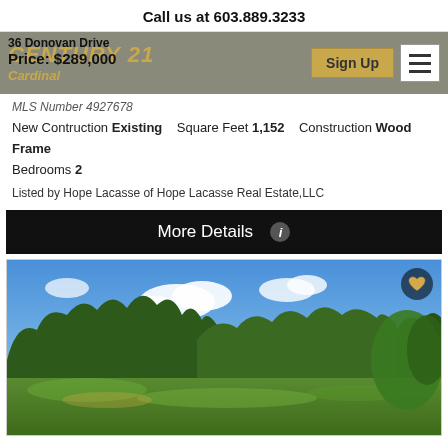Call us at 603.889.3233
36 Donovan Drive
Price: $289,000
CENTURY 21
Cardinal
MLS Number 4927678
New Contruction Existing   Square Feet 1,152   Construction Wood Frame
Bedrooms 2
Listed by Hope Lacasse of Hope Lacasse Real Estate,LLC
More Details
[Figure (photo): Outdoor property photo showing a grassy meadow with treeline in background and blue sky with white clouds]